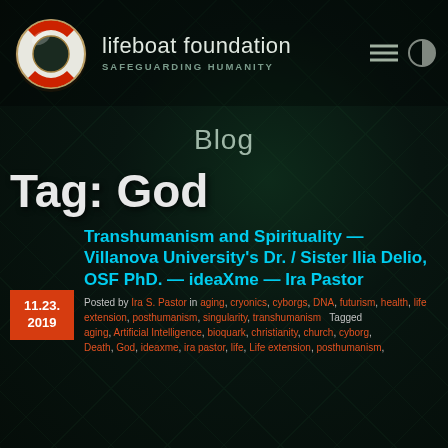[Figure (logo): Lifeboat Foundation logo with lifebuoy ring and text 'lifeboat foundation SAFEGUARDING HUMANITY' with hamburger menu and contrast toggle icons]
Blog
Tag: God
Transhumanism and Spirituality — Villanova University's Dr. / Sister Ilia Delio, OSF PhD. — ideaXme — Ira Pastor
Posted by Ira S. Pastor in aging, cryonics, cyborgs, DNA, futurism, health, life extension, posthumanism, singularity, transhumanism Tagged aging, Artificial Intelligence, bioquark, christianity, church, cyborg, Death, God, ideaxme, ira pastor, life, Life extension, posthumanism,